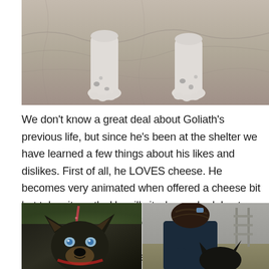[Figure (photo): Close-up photo of a dog's white paws with dark spots resting on a gray blanket/fabric surface]
We don't know a great deal about Goliath's previous life, but since he's been at the shelter we have learned a few things about his likes and dislikes. First of all, he LOVES cheese. He becomes very animated when offered a cheese bit but takes it gently. He will sit when asked. Last Sunday we took him out for some Blanket Time. At first he was a bit anxious, as it was a new situation, we were new people, and my camera made the strangest noise.
[Figure (photo): Close-up photo of a dark-colored dog (likely German Shepherd mix) looking up at the camera with blue/light eyes, wearing a red and pink leash, with green grass visible in the background]
[Figure (photo): Photo of a person (partially visible, appears to be a young woman or girl with dark hair) interacting with a dark dog outdoors near a building]